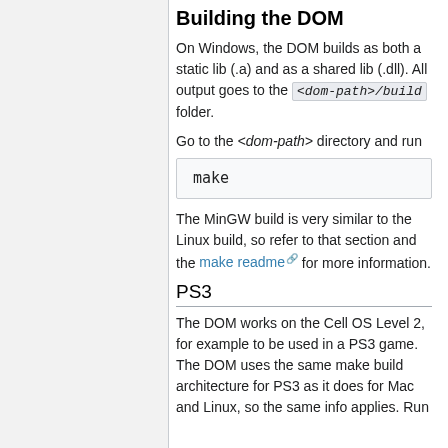Building the DOM
On Windows, the DOM builds as both a static lib (.a) and as a shared lib (.dll). All output goes to the <dom-path>/build folder.
Go to the <dom-path> directory and run
The MinGW build is very similar to the Linux build, so refer to that section and the make readme for more information.
PS3
The DOM works on the Cell OS Level 2, for example to be used in a PS3 game. The DOM uses the same make build architecture for PS3 as it does for Mac and Linux, so the same info applies. Run